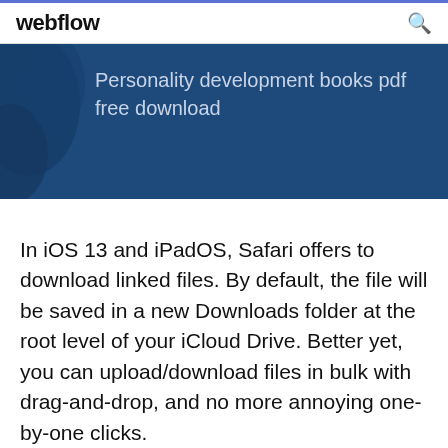webflow
[Figure (screenshot): Blue banner with text 'Personality development books pdf free download' over a dark blue background with decorative shapes on the left.]
In iOS 13 and iPadOS, Safari offers to download linked files. By default, the file will be saved in a new Downloads folder at the root level of your iCloud Drive. Better yet, you can upload/download files in bulk with drag-and-drop, and no more annoying one-by-one clicks.